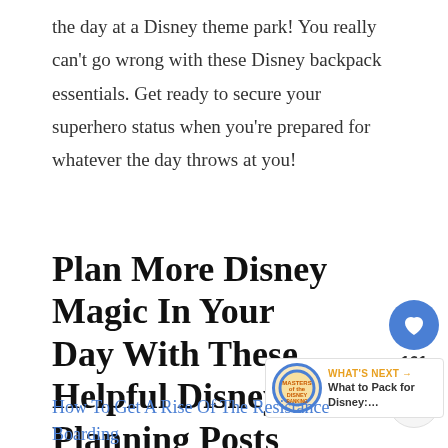the day at a Disney theme park! You really can't go wrong with these Disney backpack essentials. Get ready to secure your superhero status when you're prepared for whatever the day throws at you!
Plan More Disney Magic In Your Day With These Helpful Disney Planning Posts
How To Get A Rise Of The Resistance Boarding